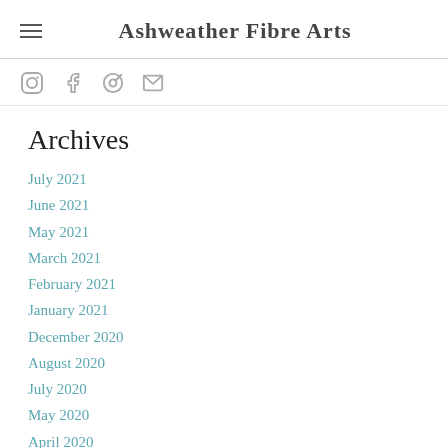Ashweather Fibre Arts
Archives
July 2021
June 2021
May 2021
March 2021
February 2021
January 2021
December 2020
August 2020
July 2020
May 2020
April 2020
March 2020
February 2020
January 2020